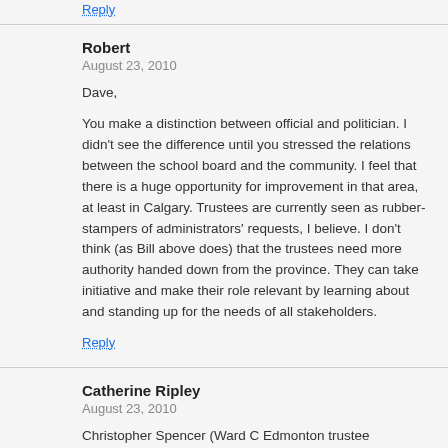Reply
Robert
August 23, 2010
Dave,
You make a distinction between official and politician. I didn't see the difference until you stressed the relations between the school board and the community. I feel that there is a huge opportunity for improvement in that area, at least in Calgary. Trustees are currently seen as rubber-stampers of administrators' requests, I believe. I don't think (as Bill above does) that the trustees need more authority handed down from the province. They can take initiative and make their role relevant by learning about and standing up for the needs of all stakeholders.
Reply
Catherine Ripley
August 23, 2010
Christopher Spencer (Ward C Edmonton trustee candidate) tweeted about this over the weekend. Should trustees be considered politicians? he asked. My tweet back said if you want to be elected, you have to be a politician.